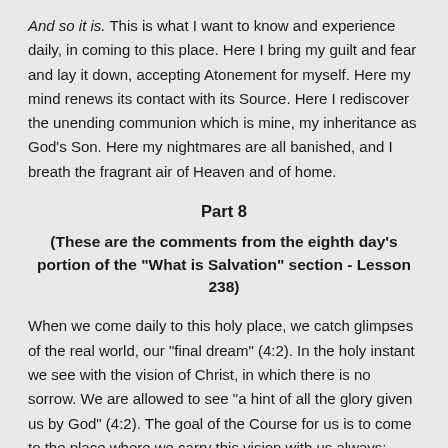And so it is. This is what I want to know and experience daily, in coming to this place. Here I bring my guilt and fear and lay it down, accepting Atonement for myself. Here my mind renews its contact with its Source. Here I rediscover the unending communion which is mine, my inheritance as God's Son. Here my nightmares are all banished, and I breath the fragrant air of Heaven and of home.
Part 8
(These are the comments from the eighth day's portion of the "What is Salvation" section - Lesson 238)
When we come daily to this holy place, we catch glimpses of the real world, our "final dream" (4:2). In the holy instant we see with the vision of Christ, in which there is no sorrow. We are allowed to see "a hint of all the glory given us by God" (4:2). The goal of the Course for us is to come to the place where we carry this vision with us always; where our minds are so transformed that we see nothing but the real world, and live a life that is one, continuous holy instant. That time may seem far off to me, but it